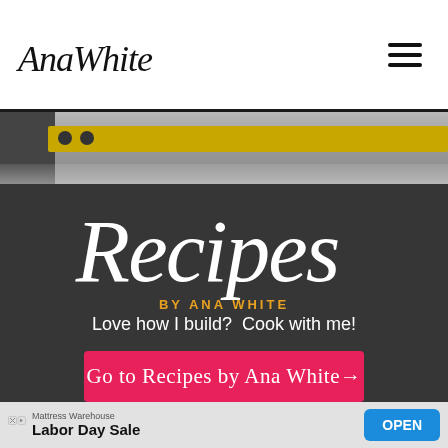AnaWhite [logo] + hamburger menu icon
[Figure (photo): Close-up hero banner of a yellow spirit level / builder's level tool on a light background]
[Figure (infographic): Dark grey section with large handwritten-style 'Recipes' text, yellow 'BY ANA WHITE' subtitle, white text 'Love how I build? Cook with me!', and a pink/red button reading 'Go to Recipes by Ana White→']
Love how I build?  Cook with me!
Go to Recipes by Ana White→
Mattress Warehouse
Labor Day Sale
OPEN